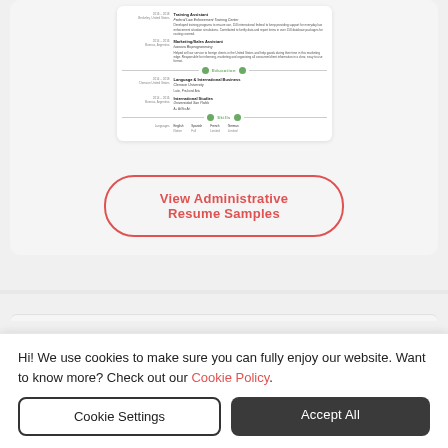[Figure (screenshot): Partial screenshot of a resume document showing Training Assistant and Marketing/Sales Assistant job entries, Education section with Language & International Business at Clemson University and International Studies at Universidad San Pablo, and a Skills section with languages.]
View Administrative Resume Samples
Hi! We use cookies to make sure you can fully enjoy our website. Want to know more? Check out our Cookie Policy.
Cookie Settings
Accept All